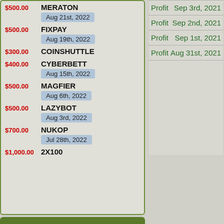$500.00 MERATON Aug 21st, 2022
$500.00 FIXPAY Aug 19th, 2022
$300.00 COINSHUTTLE
$400.00 CYBERBETT Aug 15th, 2022
$500.00 MAGFIER Aug 6th, 2022
$500.00 LAZYBOT Aug 3rd, 2022
$700.00 NUKOP Jul 28th, 2022
$1,000.00 2X100
Profit Sep 3rd, 2021
Profit Sep 2nd, 2021
Profit Sep 1st, 2021
Profit Aug 31st, 2021
TOP RCB